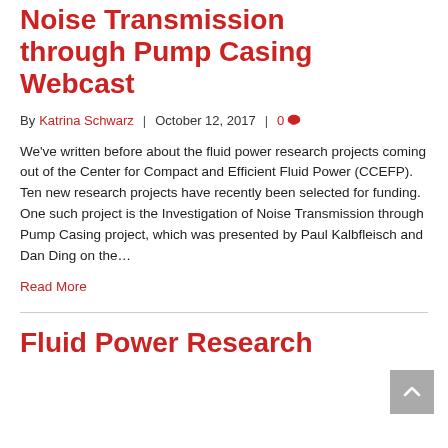Noise Transmission through Pump Casing Webcast
By Katrina Schwarz | October 12, 2017 | 0
We've written before about the fluid power research projects coming out of the Center for Compact and Efficient Fluid Power (CCEFP). Ten new research projects have recently been selected for funding. One such project is the Investigation of Noise Transmission through Pump Casing project, which was presented by Paul Kalbfleisch and Dan Ding on the…
Read More
Fluid Power Research